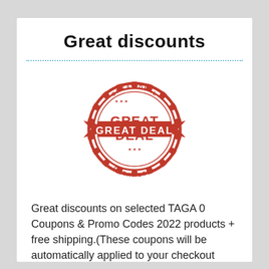Great discounts
[Figure (illustration): A red 'GREAT DEAL' stamp/badge with decorative ribbon and circular text reading 'GREAT DEAL' repeated around the border and on a ribbon.]
Great discounts on selected TAGA 0 Coupons & Promo Codes 2022 products + free shipping.(These coupons will be automatically applied to your checkout page)
✔ Verified
0 Comments